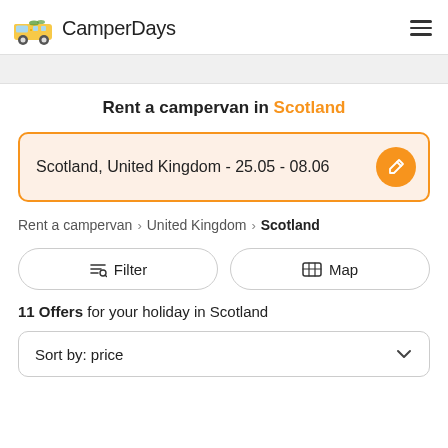CamperDays
Rent a campervan in Scotland
Scotland, United Kingdom - 25.05 - 08.06
Rent a campervan > United Kingdom > Scotland
Filter   Map
11 Offers for your holiday in Scotland
Sort by: price